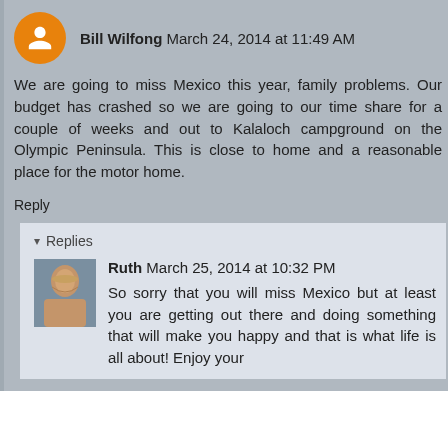Bill Wilfong  March 24, 2014 at 11:49 AM
We are going to miss Mexico this year, family problems. Our budget has crashed so we are going to our time share for a couple of weeks and out to Kalaloch campground on the Olympic Peninsula. This is close to home and a reasonable place for the motor home.
Reply
Replies
Ruth  March 25, 2014 at 10:32 PM
So sorry that you will miss Mexico but at least you are getting out there and doing something that will make you happy and that is what life is all about! Enjoy your